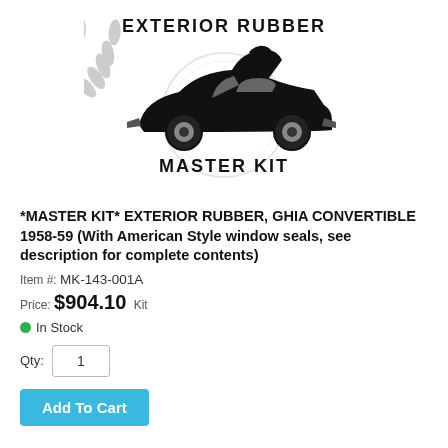[Figure (logo): Exterior Rubber Master Kit logo: text 'EXTERIOR RUBBER' at top, a silhouette of a classic convertible car in black over a grey laurel wreath and circular badge, text 'MASTER KIT' at bottom]
*MASTER KIT* EXTERIOR RUBBER, GHIA CONVERTIBLE 1958-59 (With American Style window seals, see description for complete contents)
Item #: MK-143-001A
Price: $904.10  Kit
● In Stock
Qty: 1
Add To Cart